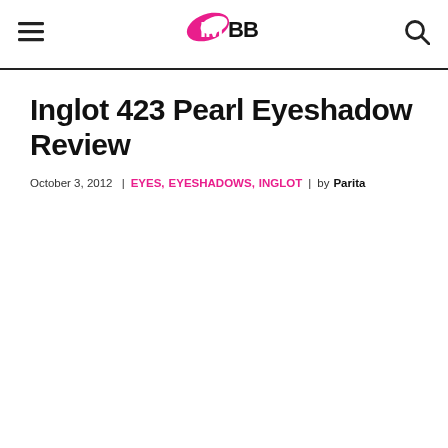IMBB (I My Makeup Beauty Blog) - navigation header with hamburger menu and search icon
Inglot 423 Pearl Eyeshadow Review
October 3, 2012 | EYES, EYESHADOWS, INGLOT | by Parita